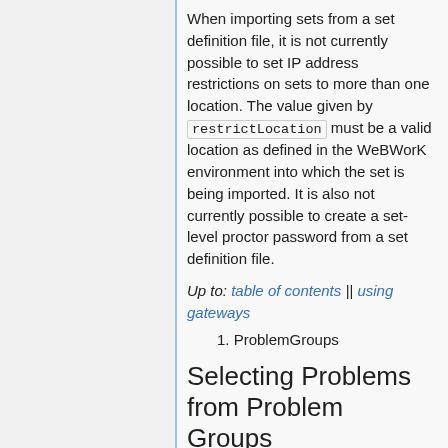When importing sets from a set definition file, it is not currently possible to set IP address restrictions on sets to more than one location. The value given by restrictLocation must be a valid location as defined in the WeBWorK environment into which the set is being imported. It is also not currently possible to create a set-level proctor password from a set definition file.
Up to: table of contents || using gateways
1. ProblemGroups
Selecting Problems from Problem Groups
The following is an overview of the process of selecting problems from